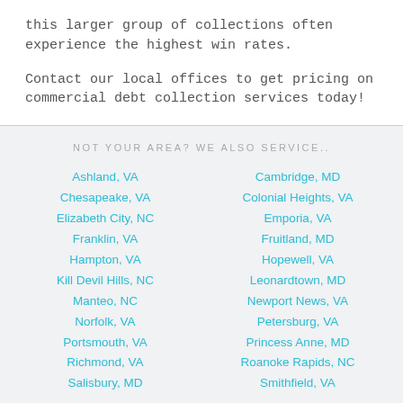this larger group of collections often experience the highest win rates.
Contact our local offices to get pricing on commercial debt collection services today!
NOT YOUR AREA? WE ALSO SERVICE..
Ashland, VA
Cambridge, MD
Chesapeake, VA
Colonial Heights, VA
Elizabeth City, NC
Emporia, VA
Franklin, VA
Fruitland, MD
Hampton, VA
Hopewell, VA
Kill Devil Hills, NC
Leonardtown, MD
Manteo, NC
Newport News, VA
Norfolk, VA
Petersburg, VA
Portsmouth, VA
Princess Anne, MD
Richmond, VA
Roanoke Rapids, NC
Salisbury, MD
Smithfield, VA